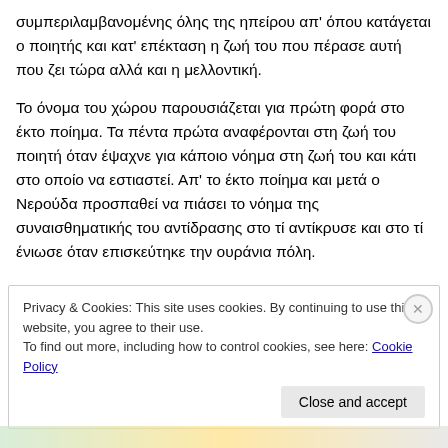συμπεριλαμβανομένης όλης της ηπείρου απ' όπου κατάγεται ο ποιητής και κατ' επέκταση η ζωή του που πέρασε αυτή που ζει τώρα αλλά και η μελλοντική.
Το όνομα του χώρου παρουσιάζεται για πρώτη φορά στο έκτο ποίημα. Τα πέντα πρώτα αναφέρονται στη ζωή του ποιητή όταν έψαχνε για κάποιο νόημα στη ζωή του και κάτι στο οποίο να εστιαστεί. Απ' το έκτο ποίημα και μετά ο Νερούδα προσπαθεί να πιάσει το νόημα της συναισθηματικής του αντίδρασης στο τί αντίκρυσε και στο τί ένιωσε όταν επισκεύτηκε την ουράνια πόλη.
Privacy & Cookies: This site uses cookies. By continuing to use this website, you agree to their use.
To find out more, including how to control cookies, see here: Cookie Policy